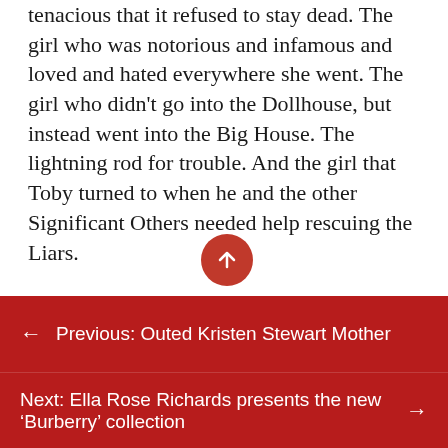tenacious that it refused to stay dead. The girl who was notorious and infamous and loved and hated everywhere she went. The girl who didn't go into the Dollhouse, but instead went into the Big House. The lightning rod for trouble. And the girl that Toby turned to when he and the other Significant Others needed help rescuing the Liars.

But instead of pondering the idea of her being the girl who walked through all of that and came out different on the other side, Toby chooses to believe that's the girl she was before. Because it's convenient, or because it's
← Previous: Outed Kristen Stewart Mother
Next: Ella Rose Richards presents the new 'Burberry' collection →